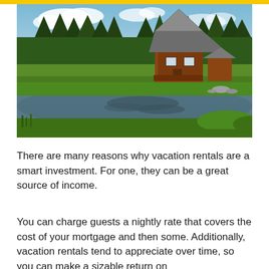[Figure (photo): A wooden A-frame log cabin situated beside a calm reflective pond, surrounded by green grass and a forest of evergreen trees under a partly cloudy blue sky.]
There are many reasons why vacation rentals are a smart investment. For one, they can be a great source of income.
You can charge guests a nightly rate that covers the cost of your mortgage and then some. Additionally, vacation rentals tend to appreciate over time, so you can make a sizable return on